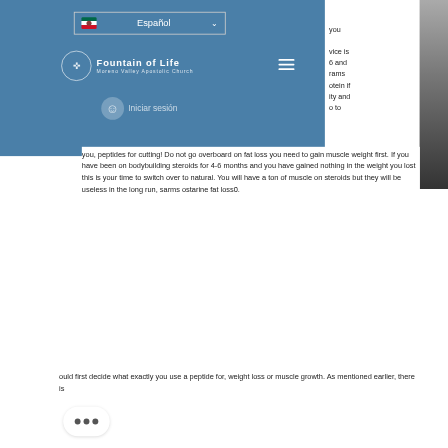[Figure (screenshot): Website navigation overlay showing a language selector (Mexican flag, Español, dropdown arrow), Fountain of Life Moreno Valley Apostolic Church logo with bird icon and hamburger menu, and an Iniciar sesión (login) button with user avatar icon. Background is a blue-tinted image.]
you, peptides for cutting! Do not go overboard on fat loss you need to gain muscle weight first. If you have been on bodybuilding steroids for 4-6 months and you have gained nothing in the weight you lost this is your time to switch over to natural. You will have a ton of muscle on steroids but they will be useless in the long run, sarms ostarine fat loss0.
ould first decide what exactly you use a peptide for, weight loss or muscle growth. As mentioned earlier, there is